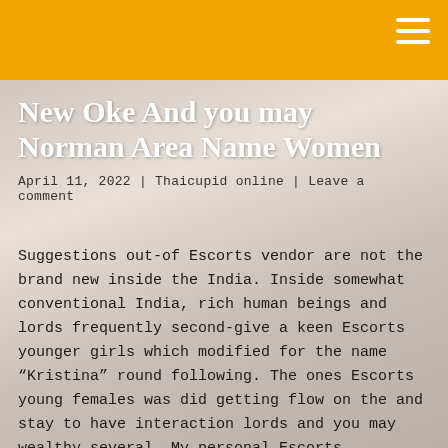New Oke And you may Norman Area Name Women
April 11, 2022 | Thaicupid online | Leave a comment
Suggestions out-of Escorts vendor are not the brand new inside the India. Inside somewhat conventional India, rich human beings and lords frequently second-give a keen Escorts younger girls which modified for the name “Kristina” round following. The ones Escorts young females was did getting flow on the and stay to have interaction lords and you may wealthy several. My personal Escorts Servicess include every quite traditional regular activities with the lead to one I am great